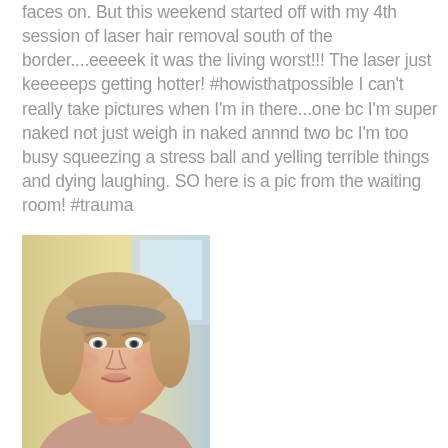faces on.  But this weekend started off with my 4th session of laser hair removal south of the border....eeeeek it was the living worst!!!  The laser just keeeeeps getting hotter! #howisthatpossible  I can't really take pictures when I'm in there...one  bc I'm super naked not just weigh in naked annnd two bc I'm too busy squeezing a stress ball and yelling terrible things and dying laughing.  SO here is a pic from the waiting room! #trauma
[Figure (photo): A woman with blonde hair and a headband, photographed from shoulders up in what appears to be a waiting room. The background shows a light yellow/cream wall.]